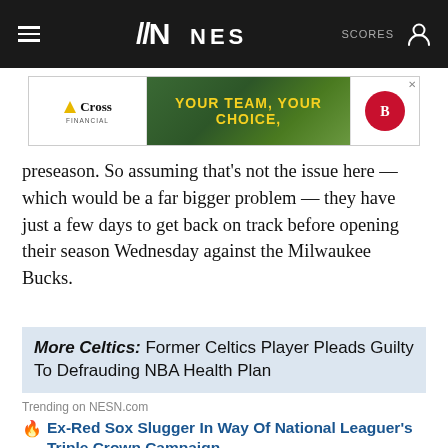NESN
[Figure (screenshot): Cross Financial advertisement banner: YOUR TEAM, YOUR CHOICE, with baseball field background and Boston Red Sox logo]
preseason. So assuming that's not the issue here — which would be a far bigger problem — they have just a few days to get back on track before opening their season Wednesday against the Milwaukee Bucks.
More Celtics: Former Celtics Player Pleads Guilty To Defrauding NBA Health Plan
Trending on NESN.com
Ex-Red Sox Slugger In Way Of National Leaguer's Triple Crown Campaign